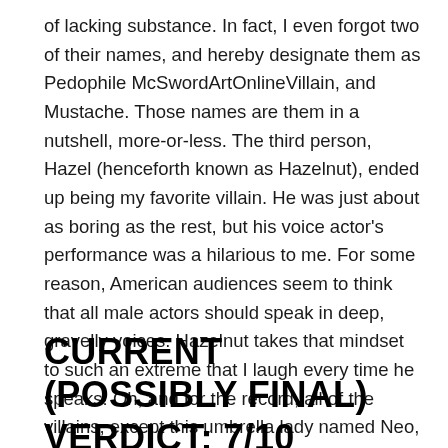of lacking substance. In fact, I even forgot two of their names, and hereby designate them as Pedophile McSwordArtOnlineVillain, and Mustache. Those names are them in a nutshell, more-or-less. The third person, Hazel (henceforth known as Hazelnut), ended up being my favorite villain. He was just about as boring as the rest, but his voice actor's performance was a hilarious to me. For some reason, American audiences seem to think that all male actors should speak in deep, gravelly voices. Hazelnut takes that mindset to such an extreme that I laugh every time he speaks! Oh, and for the record, all of the villains, except this umbrella lady named Neo, have the least interesting character designs in all of RWBY.
CURRENT (POSSIBLY FINAL) VERDICT: 7/10